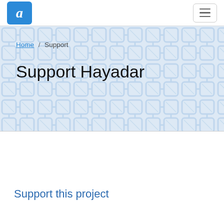[Figure (logo): Blue rounded square logo with white italic letter Q]
[Figure (illustration): Hamburger menu button (three horizontal lines in a rounded rectangle border)]
Home / Support
Support Hayadar
Support this project